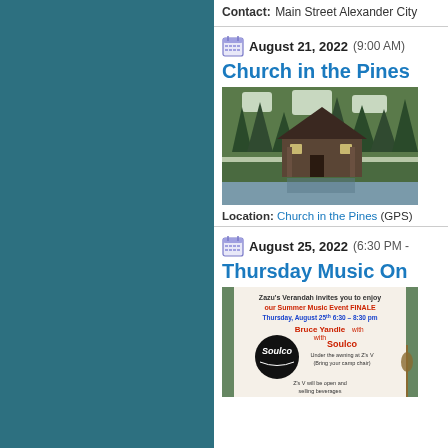Contact: Main Street Alexander City
August 21, 2022 (9:00 AM)
Church in the Pines
[Figure (photo): Church in the Pines building near a lake surrounded by pine trees]
Location: Church in the Pines (GPS)
August 25, 2022 (6:30 PM - 8:30 PM)
Thursday Music On
[Figure (photo): Zazu's Verandah Summer Music Event FINALE flyer featuring Bruce Yandle with Soulco, Thursday August 25th 6:30-8:30 pm]